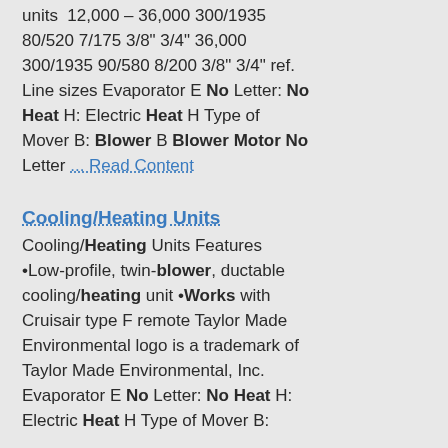units 12,000 – 36,000 300/1935 80/520 7/175 3/8" 3/4" 36,000 300/1935 90/580 8/200 3/8" 3/4" ref. Line sizes Evaporator E No Letter: No Heat H: Electric Heat H Type of Mover B: Blower B Blower Motor No Letter ... Read Content
Cooling/Heating Units
Cooling/Heating Units Features •Low-profile, twin-blower, ductable cooling/heating unit •Works with Cruisair type F remote Taylor Made Environmental logo is a trademark of Taylor Made Environmental, Inc. Evaporator E No Letter: No Heat H: Electric Heat H Type of Mover B: